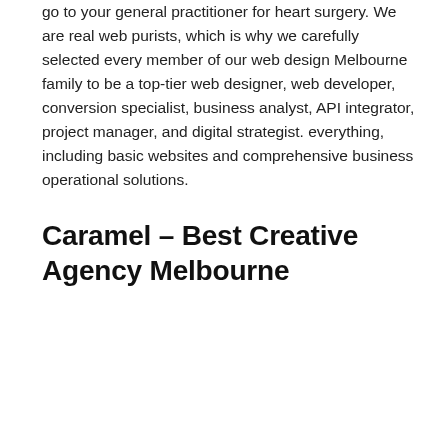go to your general practitioner for heart surgery. We are real web purists, which is why we carefully selected every member of our web design Melbourne family to be a top-tier web designer, web developer, conversion specialist, business analyst, API integrator, project manager, and digital strategist. everything, including basic websites and comprehensive business operational solutions.
Caramel – Best Creative Agency Melbourne